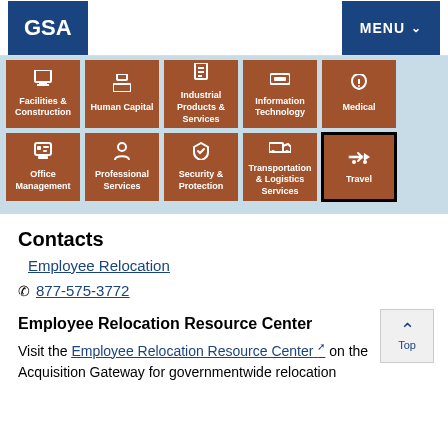GSA | MENU
[Figure (screenshot): GSA navigation tile grid showing two rows of orange tiles: Row 1: Facilities & Construction, Human Capital, Industrial Products & Services, Information Technology, Medical. Row 2: Office Management, Professional Services, Security & Protection, Transportation & Logistics Services, Travel (selected with black border).]
Contacts
Employee Relocation
877-575-3772
Employee Relocation Resource Center
Visit the Employee Relocation Resource Center on the Acquisition Gateway for governmentwide relocation